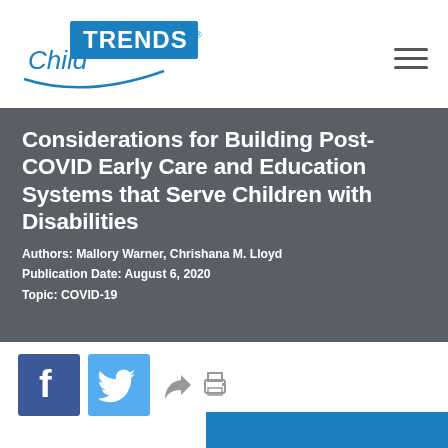Child Trends
Considerations for Building Post-COVID Early Care and Education Systems that Serve Children with Disabilities
Authors: Mallory Warner, Chrishana M. Lloyd
Publication Date: August 6, 2020
Topic: COVID-19
[Figure (other): Social sharing icons: Facebook, Twitter, share arrow, print icon]
[Figure (other): Partial blue bar at bottom right, likely beginning of a 'Read' button or section]